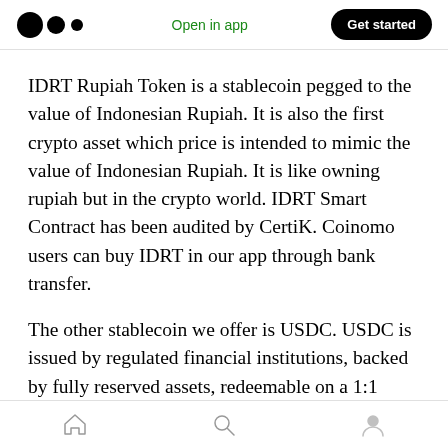Open in app | Get started
IDRT Rupiah Token is a stablecoin pegged to the value of Indonesian Rupiah. It is also the first crypto asset which price is intended to mimic the value of Indonesian Rupiah. It is like owning rupiah but in the crypto world. IDRT Smart Contract has been audited by CertiK. Coinomo users can buy IDRT in our app through bank transfer.
The other stablecoin we offer is USDC. USDC is issued by regulated financial institutions, backed by fully reserved assets, redeemable on a 1:1
Home | Search | Profile